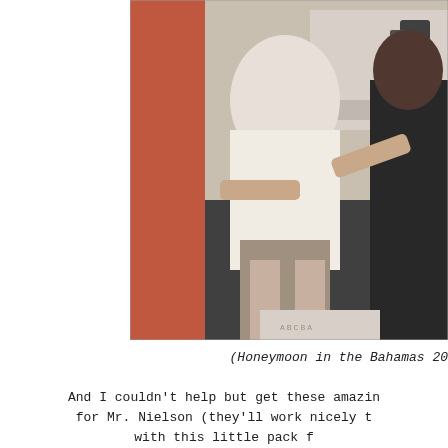[Figure (photo): A photograph of people near what appears to be a boat or vehicle. One person in a pink/red shirt on the left, one person in a white shirt in the center, one person in dark clothing on the right. Background shows a vehicle or boat.]
(Honeymoon in the Bahamas 20
And I couldn't help but get these amazin for Mr. Nielson (they'll work nicely t with this little pack f